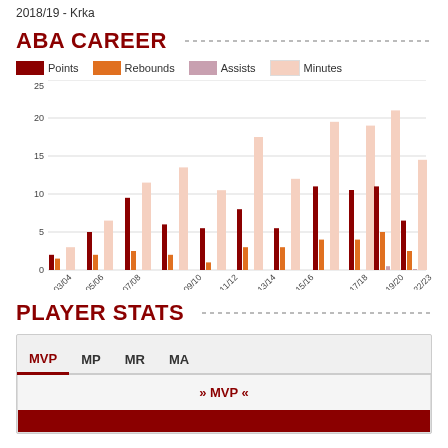2018/19 - Krka
ABA CAREER
[Figure (grouped-bar-chart): ABA Career Stats]
PLAYER STATS
MVP  MP  MR  MA
» MVP «
|  |